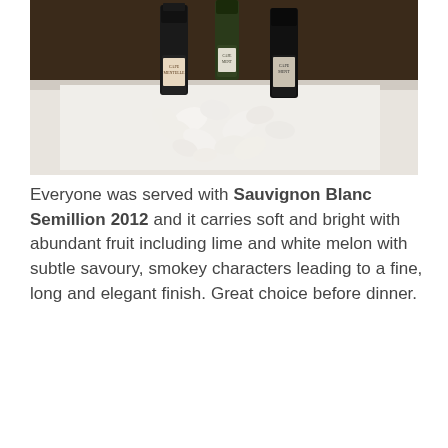[Figure (photo): Photo of three Cape Mentelle wine bottles on a white tablecloth surrounded by white rose petals. Two dark bottles on the left and right, one lighter/green bottle in the center-back.]
Everyone was served with Sauvignon Blanc Semillion 2012 and it carries soft and bright with abundant fruit including lime and white melon with subtle savoury, smokey characters leading to a fine, long and elegant finish. Great choice before dinner.